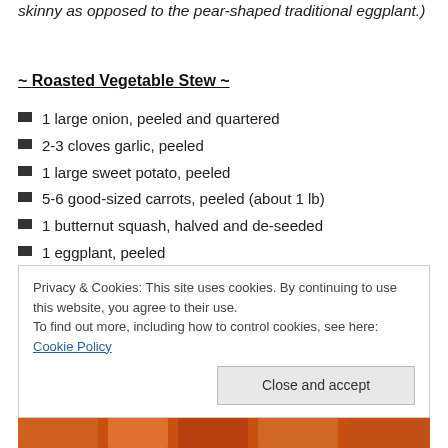skinny as opposed to the pear-shaped traditional eggplant.)
~ Roasted Vegetable Stew ~
1 large onion, peeled and quartered
2-3 cloves garlic, peeled
1 large sweet potato, peeled
5-6 good-sized carrots, peeled (about 1 lb)
1 butternut squash, halved and de-seeded
1 eggplant, peeled
4 cups vegetable broth
Privacy & Cookies: This site uses cookies. By continuing to use this website, you agree to their use.
To find out more, including how to control cookies, see here: Cookie Policy
[Figure (photo): Photo of vegetables at bottom of page]